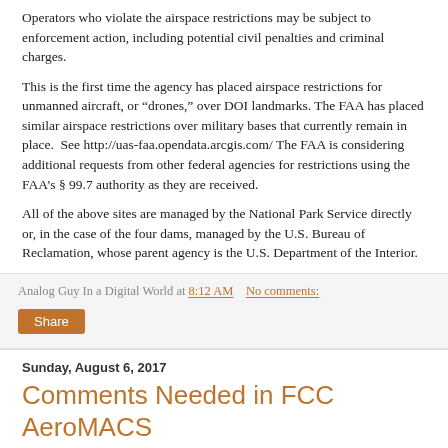Operators who violate the airspace restrictions may be subject to enforcement action, including potential civil penalties and criminal charges.
This is the first time the agency has placed airspace restrictions for unmanned aircraft, or “drones,” over DOI landmarks. The FAA has placed similar airspace restrictions over military bases that currently remain in place.  See http://uas-faa.opendata.arcgis.com/ The FAA is considering additional requests from other federal agencies for restrictions using the FAA’s § 99.7 authority as they are received.
All of the above sites are managed by the National Park Service directly or, in the case of the four dams, managed by the U.S. Bureau of Reclamation, whose parent agency is the U.S. Department of the Interior.
Analog Guy In a Digital World at 8:12 AM    No comments:
Share
Sunday, August 6, 2017
Comments Needed in FCC AeroMACS